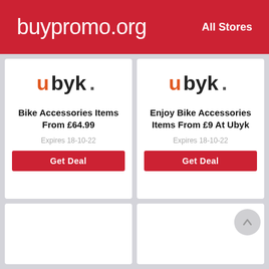buypromo.org    All Stores
[Figure (logo): ubyk. brand logo with orange 'u' and dark text]
Bike Accessories Items From £64.99
Expires 18-10-22
Get Deal
[Figure (logo): ubyk. brand logo with orange 'u' and dark text]
Enjoy Bike Accessories Items From £9 At Ubyk
Expires 18-10-22
Get Deal